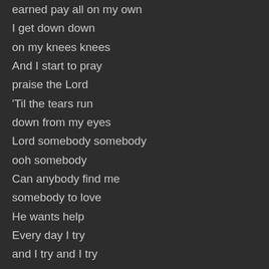earned pay all on my own
I get down down
on my knees knees
And I start to pray
praise the Lord
'Til the tears run
down from my eyes
Lord somebody somebody
ooh somebody
Can anybody find me
somebody to love
He wants help
Every day I try
and I try and I try
But everybody wants
to put me down
They say I'm goin' crazy